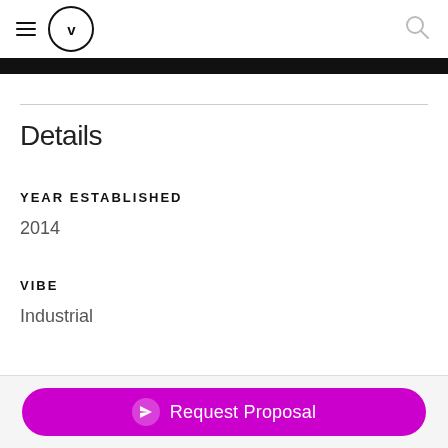v (logo) — hamburger menu and search icon
Details
YEAR ESTABLISHED
2014
VIBE
Industrial
Request Proposal